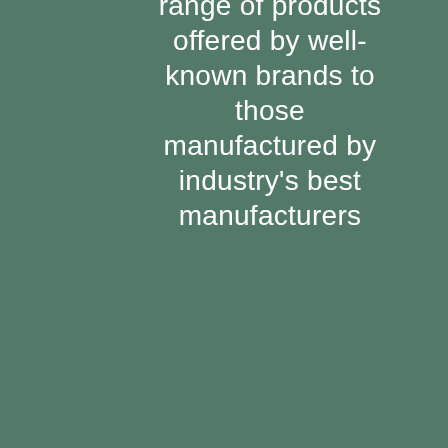range of products offered by well-known brands to those manufactured by industry's best manufacturers
[Figure (other): Subscribe button with white pill-shaped background and orange circular arrow button on the right side]